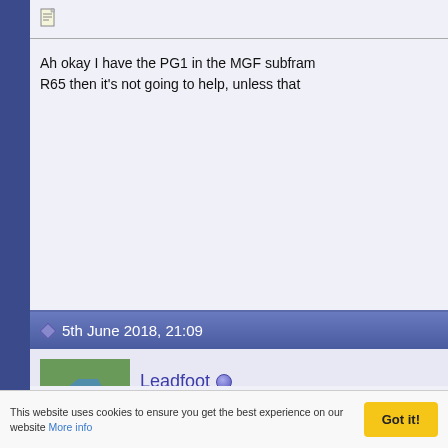Ah okay I have the PG1 in the MGF subframe. R65 then it's not going to help, unless that
5th June 2018, 21:09
Leadfoot
Member
Quote:
Originally Posted by Phaeton
Ah okay I have the PG1 in the MGF sub
the R65 then it's not going to help, unl
This website uses cookies to ensure you get the best experience on our website More info